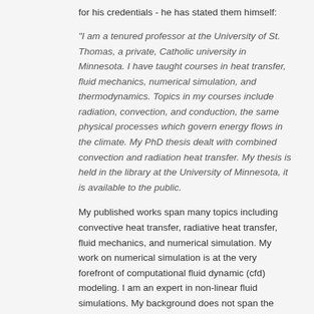for his credentials - he has stated them himself:
"I am a tenured professor at the University of St. Thomas, a private, Catholic university in Minnesota. I have taught courses in heat transfer, fluid mechanics, numerical simulation, and thermodynamics. Topics in my courses include radiation, convection, and conduction, the same physical processes which govern energy flows in the climate. My PhD thesis dealt with combined convection and radiation heat transfer. My thesis is held in the library at the University of Minnesota, it is available to the public.
My published works span many topics including convective heat transfer, radiative heat transfer, fluid mechanics, and numerical simulation. My work on numerical simulation is at the very forefront of computational fluid dynamic (cfd) modeling. I am an expert in non-linear fluid simulations. My background does not span the entire range of topics related to climate change (no one is able to claim this), it does cover many of the essential topics.